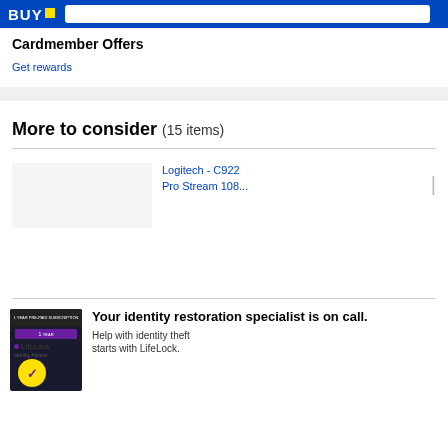BUY
Cardmember Offers
Get rewards
More to consider (15 items)
Logitech - C922 Pro Stream 108...
Your identity restoration specialist is on call. Help with identity theft starts with LifeLock.